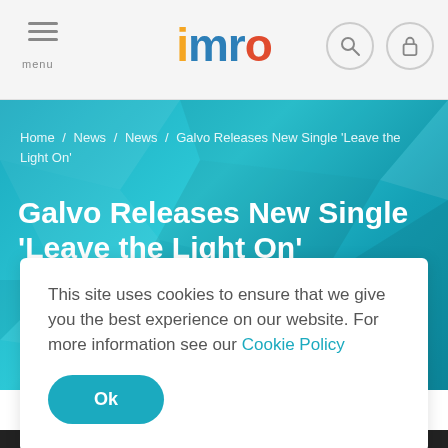IMRO website header with menu, logo, search and lock icons
Home / News / News / Galvo Releases New Single 'Leave the Light On'
Galvo Releases New Single 'Leave the Light On'
This site uses cookies to ensure that we give you the best experience on our website. For more information see our Cookie Policy
Ok